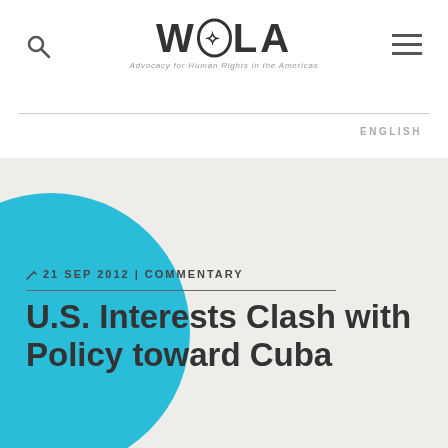WOLA — Advocacy for Human Rights in the Americas
ENGLISH
21 SEP 2012 | COMMENTARY
U.S. Interests Clash with Policy toward Cuba